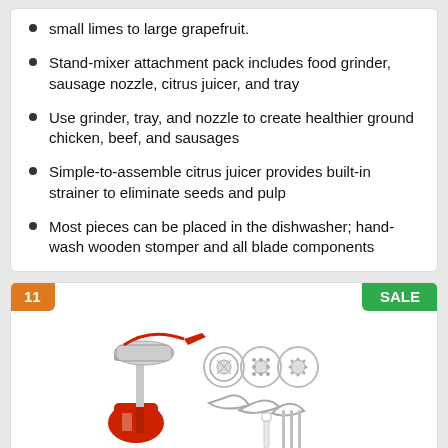small limes to large grapefruit.
Stand-mixer attachment pack includes food grinder, sausage nozzle, citrus juicer, and tray
Use grinder, tray, and nozzle to create healthier ground chicken, beef, and sausages
Simple-to-assemble citrus juicer provides built-in strainer to eliminate seeds and pulp
Most pieces can be placed in the dishwasher; hand-wash wooden stomper and all blade components
[Figure (photo): Product listing card numbered 11 with SALE badge, showing a KitchenAid stand mixer food grinder attachment with multiple grinding discs, sausage nozzles, and other accessories displayed on white background]